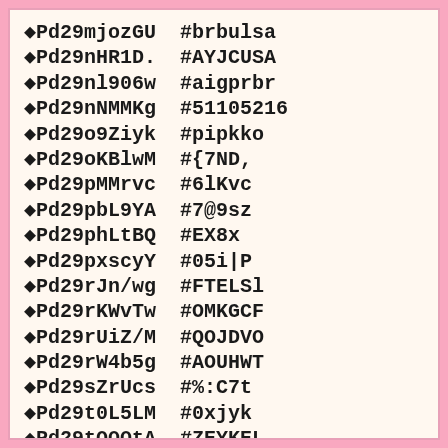◆Pd29mjozGU  #brbulsa
◆Pd29nHR1D.  #AYJCUSA
◆Pd29nl906w  #aigprbr
◆Pd29nNMMKg  #51105216
◆Pd29o9Ziyk  #pipkko
◆Pd29oKBlwM  #{7ND,
◆Pd29pMMrvc  #6lKvc
◆Pd29pbL9YA  #7@9sz
◆Pd29phLtBQ  #EX8x
◆Pd29pxscyY  #05i|P
◆Pd29rJn/wg  #FTELSl
◆Pd29rKWvTw  #OMKGCF
◆Pd29rUiZ/M  #QOJDVO
◆Pd29rW4b5g  #AOUHWT
◆Pd29sZrUcs  #%:C7t
◆Pd29t0L5LM  #0xjyk
◆Pd29tQOOtA  #ZEYKEL
◆Pd29tfflLo  #{T<;b
◆Pd29tluH8o  #bovfwyc